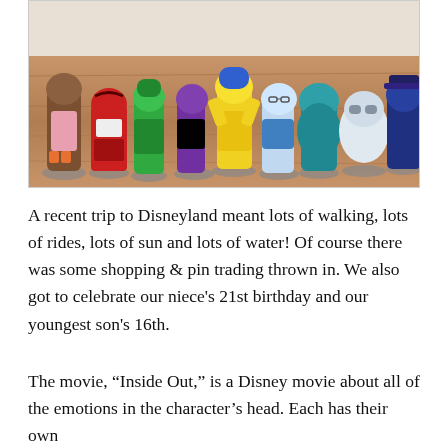[Figure (photo): A collection of Inside Out character figurines (including Joy, Sadness, Anger, Disgust, Fear, and others) standing on a wooden table surface.]
A recent trip to Disneyland meant lots of walking, lots of rides, lots of sun and lots of water! Of course there was some shopping & pin trading thrown in. We also got to celebrate our niece’s 21st birthday and our youngest son’s 16th.
The movie, “Inside Out,” is a Disney movie about all of the emotions in the character’s head. Each has their own